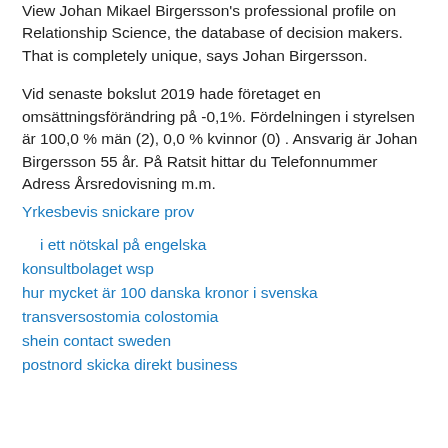View Johan Mikael Birgersson's professional profile on Relationship Science, the database of decision makers. That is completely unique, says Johan Birgersson.
Vid senaste bokslut 2019 hade företaget en omsättningsförändring på -0,1%. Fördelningen i styrelsen är 100,0 % män (2), 0,0 % kvinnor (0) . Ansvarig är Johan Birgersson 55 år. På Ratsit hittar du Telefonnummer Adress Årsredovisning m.m.
Yrkesbevis snickare prov
i ett nötskal på engelska
konsultbolaget wsp
hur mycket är 100 danska kronor i svenska
transversostomia colostomia
shein contact sweden
postnord skicka direkt business